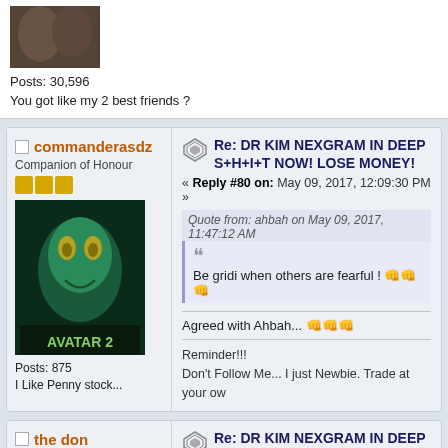[Figure (photo): User avatar photo showing two people]
Posts: 30,596
You got like my 2 best friends ?
commanderasdz
Companion of Honour
[Figure (photo): Avatar image - Avatar 2 movie poster style blue alien character]
Posts: 875
I Like Penny stock...
Re: DR KIM NEXGRAM IN DEEP S+H+I+T NOW! LOSE MONEY!
« Reply #80 on: May 09, 2017, 12:09:30 PM »
Quote from: ahbah on May 09, 2017, 11:47:12 AM
Be gridi when others are fearful !
Agreed with Ahbah...
Reminder!!!
Don't Follow Me... I just Newbie. Trade at your ow
the don
Knight
Re: DR KIM NEXGRAM IN DEEP S+H+I+T NOW! LOSE MONEY!
« Reply #81 on: May 09, 2017, 01:29:15 PM »